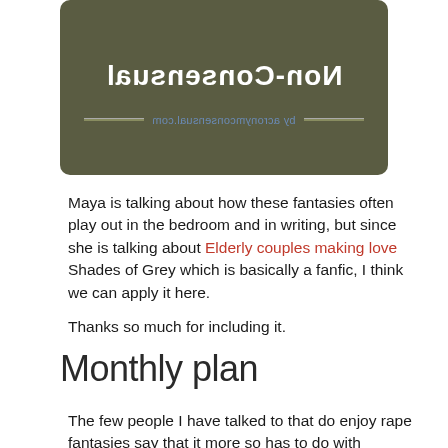[Figure (illustration): Dark olive/green rounded rectangle image block with mirrored text 'Non-Consensual' and a URL 'by acronymconsensual.com' with decorative divider lines]
Maya is talking about how these fantasies often play out in the bedroom and in writing, but since she is talking about Elderly couples making love Shades of Grey which is basically a fanfic, I think we can apply it here.
Thanks so much for including it.
Monthly plan
The few people I have talked to that do enjoy rape fantasies say that it more so has to do with control. MadameAce : Rape